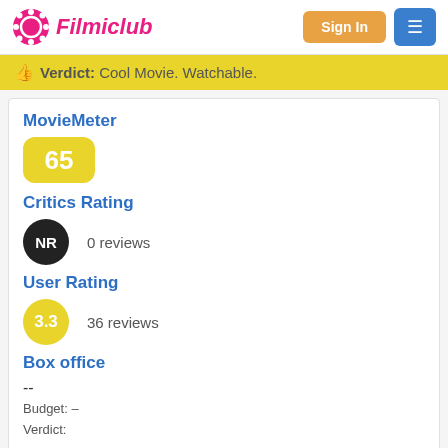[Figure (logo): Filmiclub logo with film reel icon in pink and italic bold text]
Verdict: Cool Movie. Watchable.
MovieMeter
65
Critics Rating
NR
0 reviews
User Rating
3.3
36 reviews
Box office
--
Budget: –
Verdict:
Rate movie: